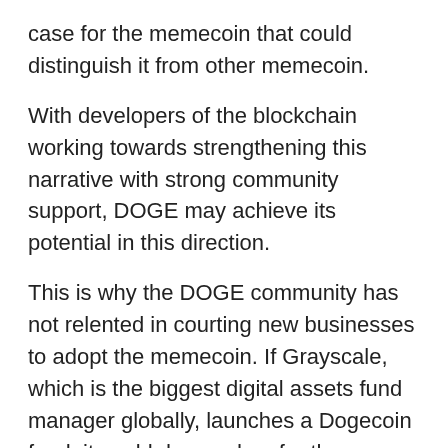case for the memecoin that could distinguish it from other memecoin.
With developers of the blockchain working towards strengthening this narrative with strong community support, DOGE may achieve its potential in this direction.
This is why the DOGE community has not relented in courting new businesses to adopt the memecoin. If Grayscale, which is the biggest digital assets fund manager globally, launches a Dogecoin fund, it could do wonders for the adoption of the token.
Grayscale is not new to DOGE. A study conducted late last year showed that the memecoin is more popular than Ethereum among American investors it surveyed. Regardless, the asset manager has not disclosed any plans around the coin. DOGE is currently trading at $0.16, up 00.40% in the last 24 h...